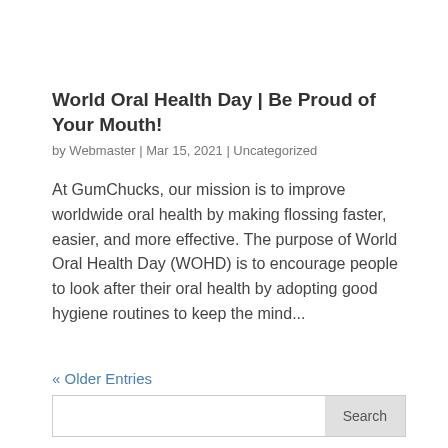World Oral Health Day | Be Proud of Your Mouth!
by Webmaster | Mar 15, 2021 | Uncategorized
At GumChucks, our mission is to improve worldwide oral health by making flossing faster, easier, and more effective. The purpose of World Oral Health Day (WOHD) is to encourage people to look after their oral health by adopting good hygiene routines to keep the mind...
« Older Entries
Recent Posts